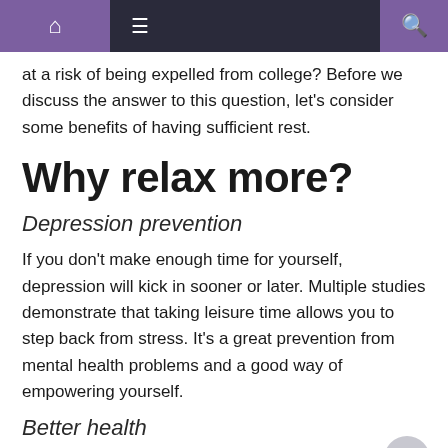Navigation bar with home, menu, and search icons
at a risk of being expelled from college? Before we discuss the answer to this question, let's consider some benefits of having sufficient rest.
Why relax more?
Depression prevention
If you don't make enough time for yourself, depression will kick in sooner or later. Multiple studies demonstrate that taking leisure time allows you to step back from stress. It's a great prevention from mental health problems and a good way of empowering yourself.
Better health
It's a well known fact that a sedentary lifestyle puts you at